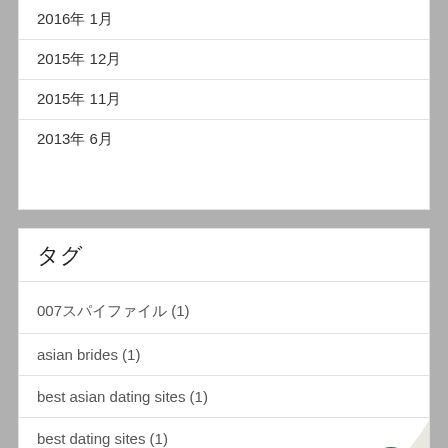2016年 1月
2015年 12月
2015年 11月
2013年 6月
タグ
007スパイファイル (1)
asian brides (1)
best asian dating sites (1)
best dating sites (1)
best hookup sites (1)